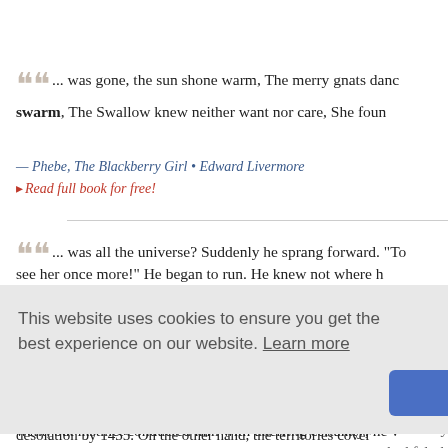... was gone, the sun shone warm, The merry gnats danc… swarm, The Swallow knew neither want nor care, She foun…
— Phebe, The Blackberry Girl • Edward Livermore
▸ Read full book for free!
... was all the universe? Suddenly he sprang forward. "To… see her once more!" He began to run. He knew not where h… went, but instinct conducted him with unerring certainty; he … Nile. A swarm of sails covered the upper waters of the river. … board a barque manned by Nubians, and lying in the forepa… eyes devouring space, he cried, in grief ...
— Thais • Anatole France
This website uses cookies to ensure you get the best experience on our website. Learn more
Got it!
hausted by… had felt th… foliage be… ance was i…
desolation by 1435. On the other hand, the territories cover…